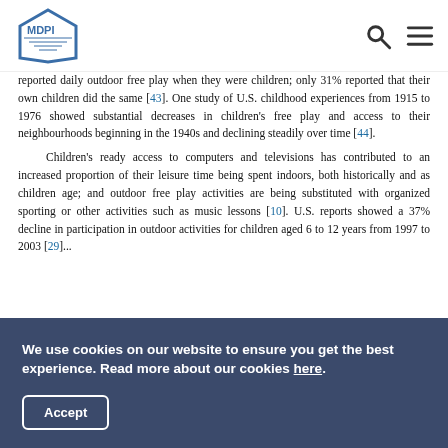MDPI
reported daily outdoor free play when they were children; only 31% reported that their own children did the same [43]. One study of U.S. childhood experiences from 1915 to 1976 showed substantial decreases in children's free play and access to their neighbourhoods beginning in the 1940s and declining steadily over time [44].
Children's ready access to computers and televisions has contributed to an increased proportion of their leisure time being spent indoors, both historically and as children age; and outdoor free play activities are being substituted with organized sporting or other activities such as music lessons [10]. U.S. reports showed a 37% decline in participation in outdoor activities for children aged 6 to 12 years from 1997 to 2003 [29]...
We use cookies on our website to ensure you get the best experience. Read more about our cookies here.
Accept